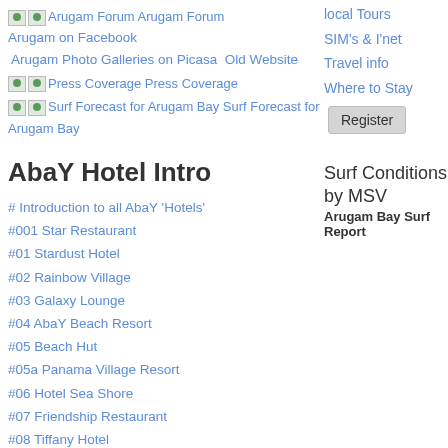Arugam Forum Arugam Forum
Arugam on Facebook
Arugam Photo Galleries on Picasa
Old Website
Press Coverage Press Coverage
Surf Forecast for Arugam Bay Surf Forecast for Arugam Bay
local Tours
SIM's & I'net
Travel info
Where to Stay
Register
Surf Conditions by MSV
Arugam Bay Surf Report
AbaY Hotel Intro
# Introduction to all AbaY 'Hotels'
#001 Star Restaurant
#01 Stardust Hotel
#02 Rainbow Village
#03 Galaxy Lounge
#04 AbaY Beach Resort
#05 Beach Hut
#05a Panama Village Resort
#06 Hotel Sea Shore
#07 Friendship Restaurant
#08 Tiffany Hotel
#09 Water Music
#10 Nishantha Restaurant
#11 Nestha Resaturnat
#12 Sam's Hut
#13 Waves of Love
#14 Rock View Beach Hotel